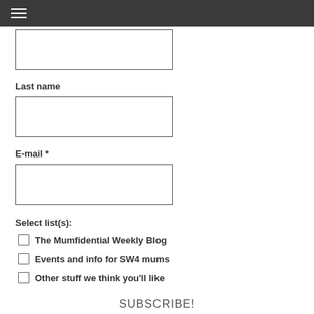☰ (hamburger menu)
(First name input field)
Last name
(Last name input field)
E-mail *
(E-mail input field)
Select list(s):
The Mumfidential Weekly Blog
Events and info for SW4 mums
Other stuff we think you'll like
SUBSCRIBE!